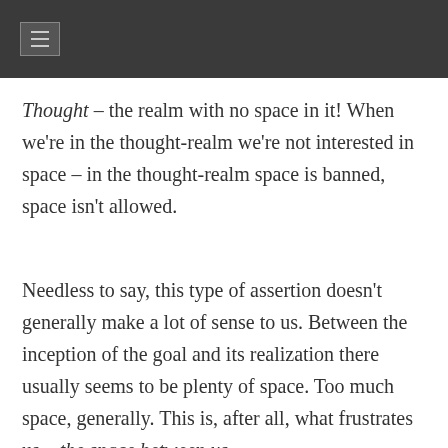≡
Thought – the realm with no space in it! When we're in the thought-realm we're not interested in space – in the thought-realm space is banned, space isn't allowed.
Needless to say, this type of assertion doesn't generally make a lot of sense to us. Between the inception of the goal and its realization there usually seems to be plenty of space. Too much space, generally. This is, after all, what frustrates us – the space between us